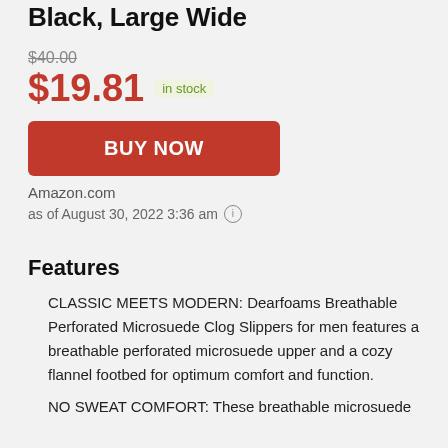Black, Large Wide
$40.00 (strikethrough)
$19.81 in stock
[Figure (other): BUY NOW button (red/coral button)]
Amazon.com
as of August 30, 2022 3:36 am (i)
Features
CLASSIC MEETS MODERN: Dearfoams Breathable Perforated Microsuede Clog Slippers for men features a breathable perforated microsuede upper and a cozy flannel footbed for optimum comfort and function.
NO SWEAT COMFORT: These breathable microsuede